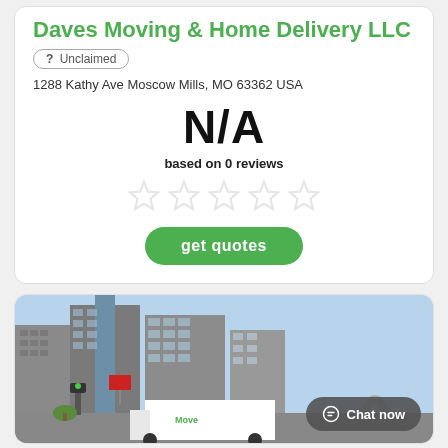Daves Moving & Home Delivery LLC
? Unclaimed
1288 Kathy Ave Moscow Mills, MO 63362 USA
N/A
based on 0 reviews
[Figure (other): Five empty/greyed-out star rating icons]
get quotes
[Figure (photo): City skyline photo showing downtown buildings, a moving truck, the Gateway Arch in St. Louis, with a Chat now button overlay in the bottom right corner]